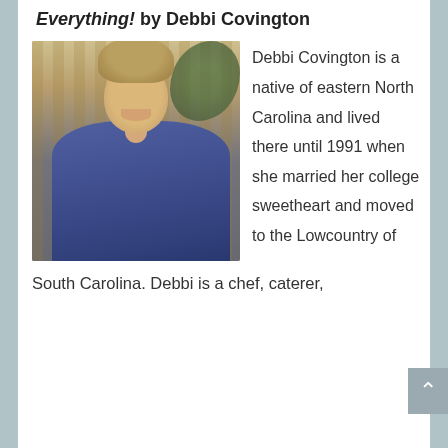Everything! by Debbi Covington
[Figure (photo): Portrait photo of Debbi Covington, a woman with short curly blonde-brown hair, wearing a blue cardigan over a white top, standing in front of a wooden fence with greenery, smiling at the camera, hands on hips.]
Debbi Covington is a native of eastern North Carolina and lived there until 1991 when she married her college sweetheart and moved to the Lowcountry of
South Carolina. Debbi is a chef, caterer,